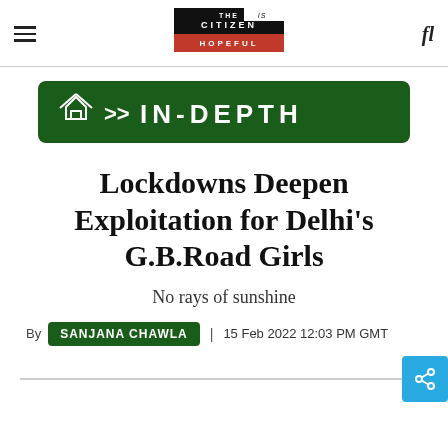THE CITIZEN IS HOPEFUL — navigation header with hamburger menu and search icon
[Figure (infographic): Dark green banner with home icon, >> arrows, and text IN-DEPTH in white letters]
Lockdowns Deepen Exploitation for Delhi's G.B.Road Girls
No rays of sunshine
By SANJANA CHAWLA | 15 Feb 2022 12:03 PM GMT